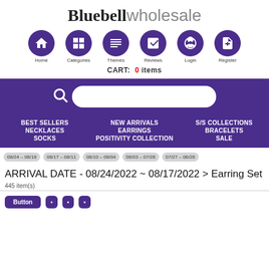[Figure (logo): Bluebell Wholesale logo with bold 'Bluebell' in serif and light 'wholesale' in sans-serif]
[Figure (infographic): Navigation icon row with 6 purple circles: Home, Categories, Themes, Reviews, Login, Register]
CART: 0 items
[Figure (screenshot): Purple search bar with magnifying glass icon and white rounded input box]
BEST SELLERS   NEW ARRIVALS   S/S COLLECTIONS   NECKLACES   EARRINGS   BRACELETS   SOCKS   POSITIVITY COLLECTION   SALE
08/24 – 08/18
08/17 – 08/11
08/10 – 08/04
08/03 – 07/28
07/27 – 06/28
ARRIVAL DATE - 08/24/2022 ~ 08/17/2022 > Earring Set
445 item(s)